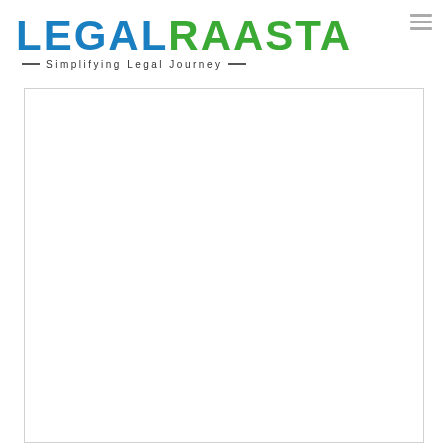LEGALRAASTA — Simplifying Legal Journey —
[Figure (other): Empty white content box with light gray border, likely a placeholder for article or form content on the LegalRaasta website page.]